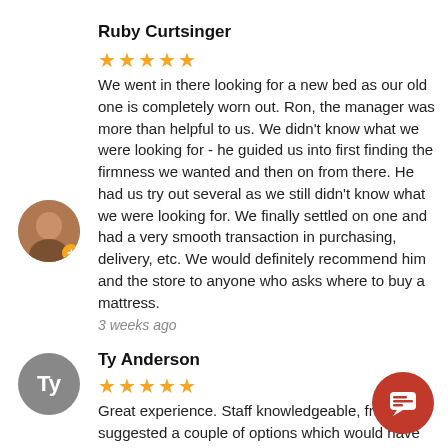Ruby Curtsinger
[Figure (illustration): 5 orange stars rating]
We went in there looking for a new bed as our old one is completely worn out. Ron, the manager was more than helpful to us. We didn't know what we were looking for - he guided us into first finding the firmness we wanted and then on from there. He had us try out several as we still didn't know what we were looking for. We finally settled on one and had a very smooth transaction in purchasing, delivery, etc. We would definitely recommend him and the store to anyone who asks where to buy a mattress.
3 weeks ago
Ty Anderson
[Figure (illustration): 5 orange stars rating]
Great experience. Staff knowledgeable, frien suggested a couple of options which would have both met my needs